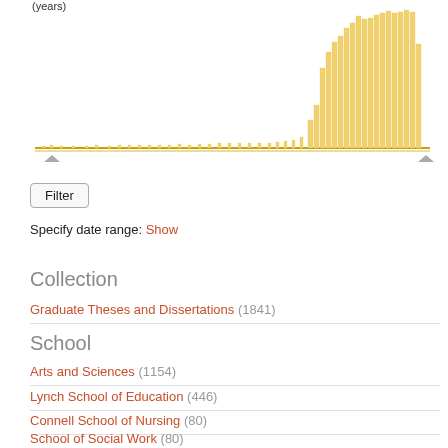[Figure (histogram): Histogram showing distribution of graduate theses and dissertations by year, with bars concentrated in recent decades (approximately 1990s-2010s), very few entries in earlier years.]
Filter
Specify date range: Show
Collection
Graduate Theses and Dissertations (1841)
School
Arts and Sciences (1154)
Lynch School of Education (446)
Connell School of Nursing (80)
School of Social Work (80)
Carroll School of Management (72)